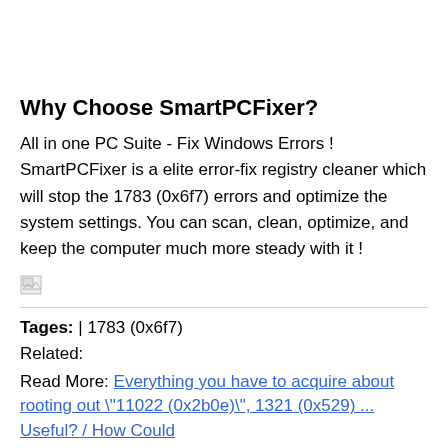Why Choose SmartPCFixer?
All in one PC Suite - Fix Windows Errors ! SmartPCFixer is a elite error-fix registry cleaner which will stop the 1783 (0x6f7) errors and optimize the system settings. You can scan, clean, optimize, and keep the computer much more steady with it !
[Figure (other): Broken image placeholder (small image icon)]
Tages: | 1783 (0x6f7)
Related:
Read More: Everything you have to acquire about rooting out "11022 (0x2b0e)", 1321 (0x529) ... Useful? / How Could